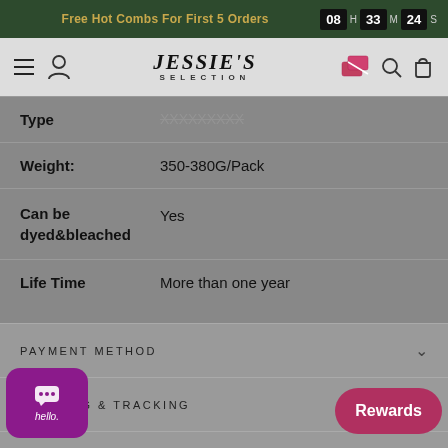Free Hot Combs For First 5 Orders | 08 H 33 M 24 S
[Figure (logo): Jessie's Selection brand logo with navigation icons]
| Attribute | Value |
| --- | --- |
| Type | XXXXXXXXX |
| Weight: | 350-380G/Pack |
| Can be dyed&bleached | Yes |
| Life Time | More than one year |
PAYMENT METHOD
SHIPPING & TRACKING
EXCHANGE & RETURN POLICY